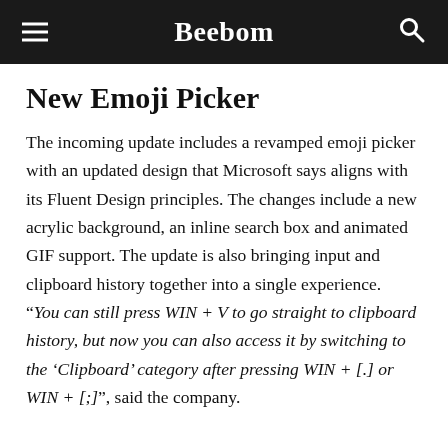Beebom
New Emoji Picker
The incoming update includes a revamped emoji picker with an updated design that Microsoft says aligns with its Fluent Design principles. The changes include a new acrylic background, an inline search box and animated GIF support. The update is also bringing input and clipboard history together into a single experience. “You can still press WIN + V to go straight to clipboard history, but now you can also access it by switching to the ‘Clipboard’ category after pressing WIN + [.] or WIN + [;]”, said the company.